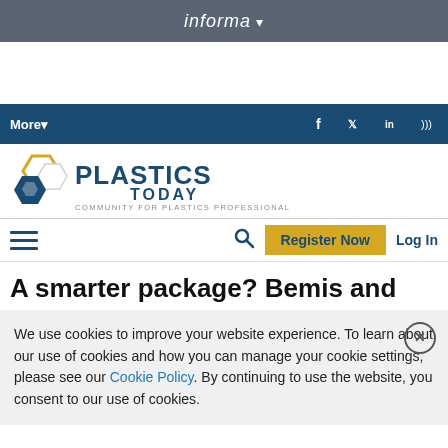informa ▾
[Figure (logo): Plastics Today logo with hexagon shapes and tagline COMMUNITY FOR PLASTICS PROFESSIONALS]
A smarter package? Bemis and
We use cookies to improve your website experience. To learn about our use of cookies and how you can manage your cookie settings, please see our Cookie Policy. By continuing to use the website, you consent to our use of cookies.